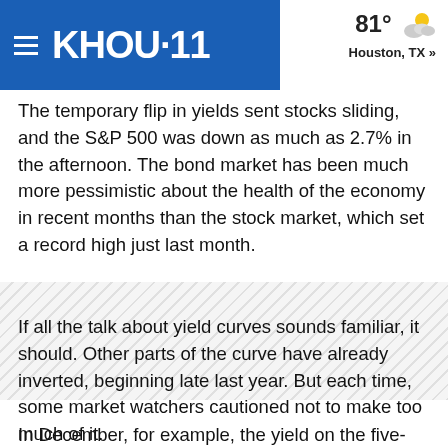KHOU 11 — 81° Houston, TX »
The temporary flip in yields sent stocks sliding, and the S&P 500 was down as much as 2.7% in the afternoon. The bond market has been much more pessimistic about the health of the economy in recent months than the stock market, which set a record high just last month.
[Figure (photo): Hatched/shaded placeholder image area]
If all the talk about yield curves sounds familiar, it should. Other parts of the curve have already inverted, beginning late last year. But each time, some market watchers cautioned not to make too much of it.
In December, for example, the yield on the five-year